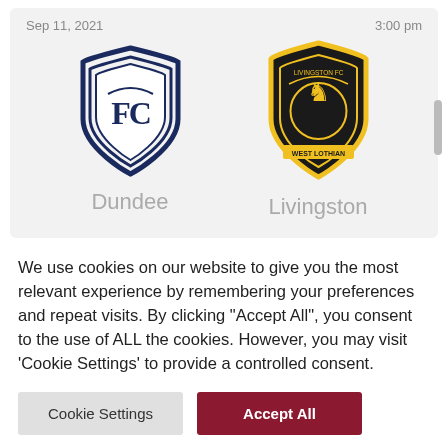Sep 11, 2021
3:00 pm
[Figure (logo): Dundee FC club crest — navy blue shield outline with FC letters inside]
[Figure (logo): Livingston FC club crest — black and yellow shield with lion emblem]
Dundee
Livingston
We use cookies on our website to give you the most relevant experience by remembering your preferences and repeat visits. By clicking "Accept All", you consent to the use of ALL the cookies. However, you may visit 'Cookie Settings' to provide a controlled consent.
Cookie Settings
Accept All